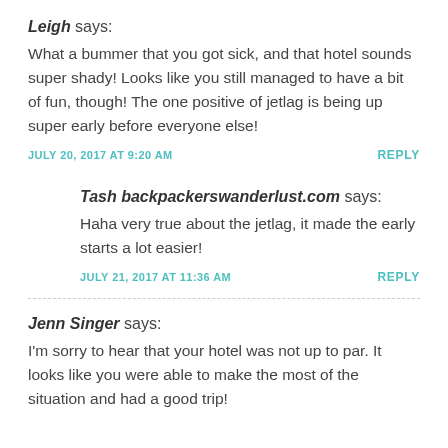Leigh says:
What a bummer that you got sick, and that hotel sounds super shady! Looks like you still managed to have a bit of fun, though! The one positive of jetlag is being up super early before everyone else!
JULY 20, 2017 AT 9:20 AM
REPLY
Tash backpackerswanderlust.com says:
Haha very true about the jetlag, it made the early starts a lot easier!
JULY 21, 2017 AT 11:36 AM
REPLY
Jenn Singer says:
I'm sorry to hear that your hotel was not up to par. It looks like you were able to make the most of the situation and had a good trip!